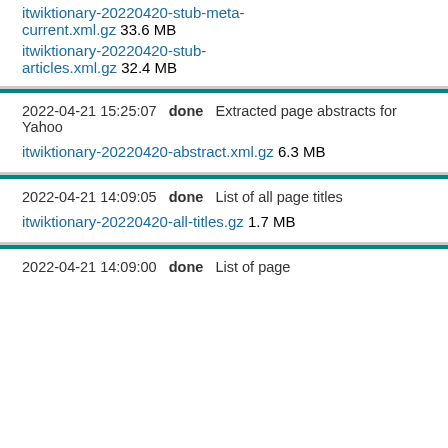itwiktionary-20220420-stub-meta-current.xml.gz 33.6 MB
itwiktionary-20220420-stub-articles.xml.gz 32.4 MB
2022-04-21 15:25:07  done  Extracted page abstracts for Yahoo
itwiktionary-20220420-abstract.xml.gz 6.3 MB
2022-04-21 14:09:05  done  List of all page titles
itwiktionary-20220420-all-titles.gz 1.7 MB
2022-04-21 14:09:00  done  List of page